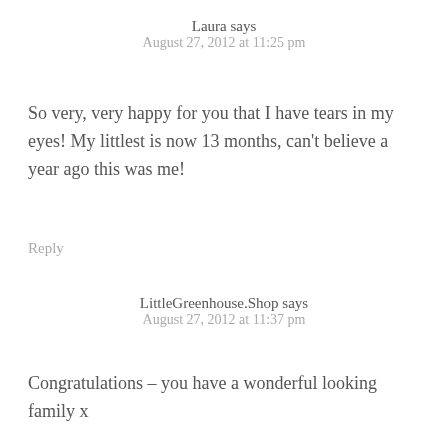Laura says
August 27, 2012 at 11:25 pm
So very, very happy for you that I have tears in my eyes! My littlest is now 13 months, can't believe a year ago this was me!
Reply
LittleGreenhouse.Shop says
August 27, 2012 at 11:37 pm
Congratulations – you have a wonderful looking family x